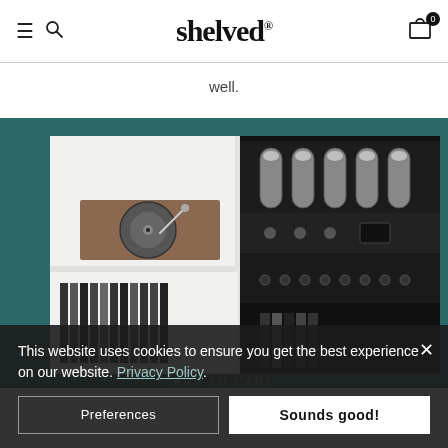shelved — navigation header with hamburger menu, search icon, logo 'shelved', and cart icon with badge 0
well.
[Figure (photo): Photo of white modular shelving unit containing a turntable on the left shelf and a tube amplifier (Mesa Boogie style) on the right shelf, with vinyl records on a lower shelf. Image is set against a teal/dark green background.]
This website uses cookies to ensure you get the best experience on our website. Privacy Policy
ADD TO CART
Preferences
Sounds good!